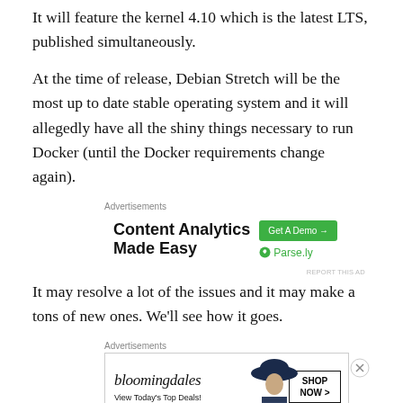It will feature the kernel 4.10 which is the latest LTS, published simultaneously.
At the time of release, Debian Stretch will be the most up to date stable operating system and it will allegedly have all the shiny things necessary to run Docker (until the Docker requirements change again).
[Figure (other): Advertisements banner: Content Analytics Made Easy — Parse.ly, with a green 'Get A Demo →' button]
It may resolve a lot of the issues and it may make a tons of new ones. We'll see how it goes.
[Figure (other): Advertisements banner: Bloomingdales — View Today's Top Deals! with SHOP NOW > button and woman in hat photo]